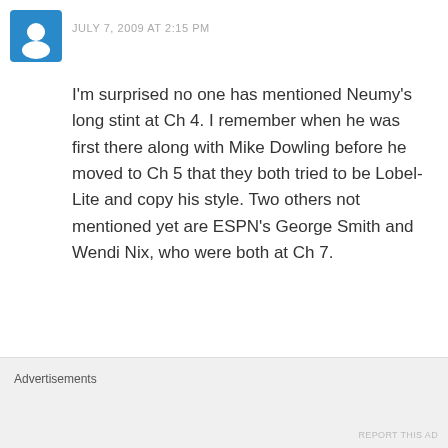[Figure (other): Blue circular avatar icon with white camera/user symbol]
JULY 7, 2009 AT 2:15 PM
I'm surprised no one has mentioned Neumy's long stint at Ch 4. I remember when he was first there along with Mike Dowling before he moved to Ch 5 that they both tried to be Lobel-Lite and copy his style. Two others not mentioned yet are ESPN's George Smith and Wendi Nix, who were both at Ch 7.
★ Like
Advertisements
REPORT THIS AD